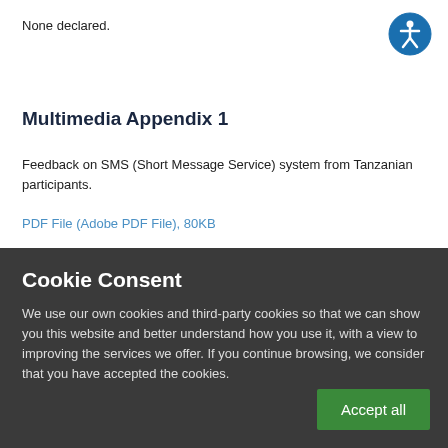None declared.
[Figure (logo): Accessibility icon — blue circle with white person/wheelchair symbol]
Multimedia Appendix 1
Feedback on SMS (Short Message Service) system from Tanzanian participants.
PDF File (Adobe PDF File), 80KB
Cookie Consent
We use our own cookies and third-party cookies so that we can show you this website and better understand how you use it, with a view to improving the services we offer. If you continue browsing, we consider that you have accepted the cookies.